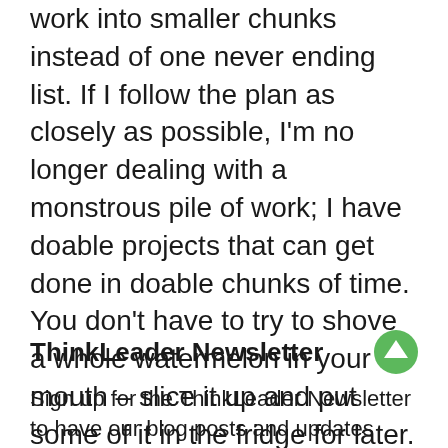work into smaller chunks instead of one never ending list. If I follow the plan as closely as possible, I'm no longer dealing with a monstrous pile of work; I have doable projects that can get done in doable chunks of time. You don't have to try to shove a whole watermelon in your mouth – slice it up and put some of it in the fridge for later.
ThinkLeader Newsletter
Sign up for the ThinkLeader Newsletter to have our blog posts and updates sent directly to your inbox.